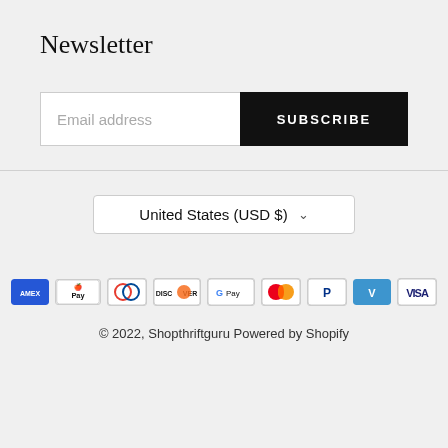Newsletter
Email address
SUBSCRIBE
United States (USD $)
[Figure (logo): Payment method icons: American Express, Apple Pay, Diners Club, Discover, Google Pay, Mastercard, PayPal, Venmo, Visa]
© 2022, Shopthriftguru Powered by Shopify